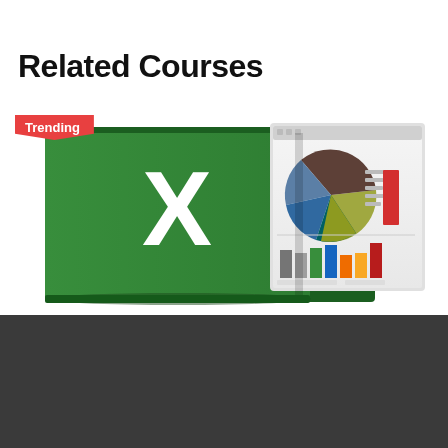Related Courses
[Figure (illustration): Microsoft Excel logo book with green cover showing white X, next to a spreadsheet screen showing pie chart and bar chart. Red 'Trending' badge in top-left corner.]
Hussen Syed
Microsoft Excel
[Figure (logo): TD logo icon in red]
ADD TO HOME SCREEN
[Figure (illustration): WhatsApp icon circle button dark green]
★ ★ ★